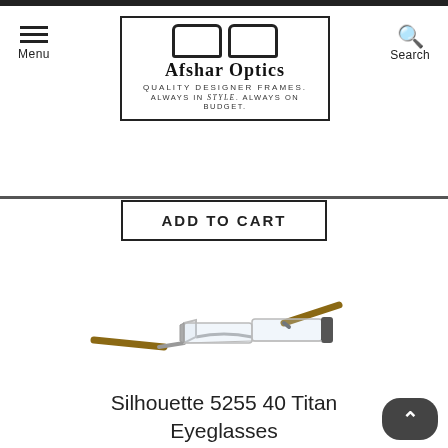Afshar Optics — QUALITY DESIGNER FRAMES. ALWAYS IN style. ALWAYS ON BUDGET.
Menu
Search
ADD TO CART
[Figure (photo): Silhouette 5255 40 Titan Eyeglasses — rimless eyeglasses with brown/gold temples on white background]
Silhouette 5255 40 Titan Eyeglasses